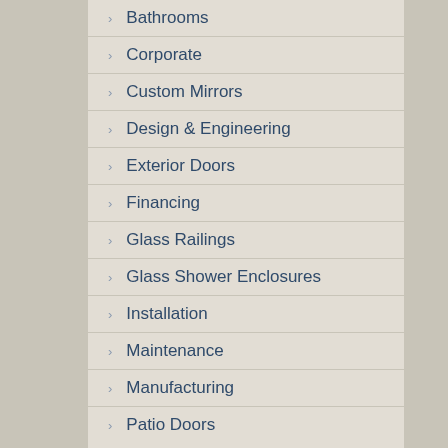Bathrooms
Corporate
Custom Mirrors
Design & Engineering
Exterior Doors
Financing
Glass Railings
Glass Shower Enclosures
Installation
Maintenance
Manufacturing
Patio Doors